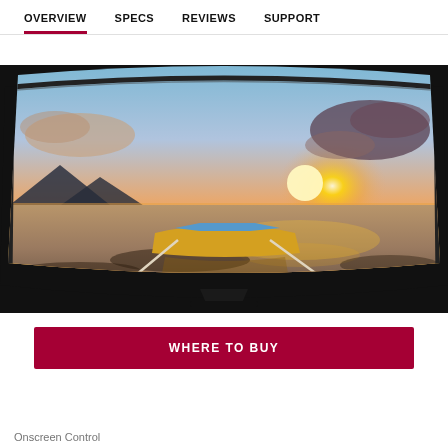OVERVIEW   SPECS   REVIEWS   SUPPORT
[Figure (photo): A curved LG television displaying a sunset scene over a beach with a traditional outrigger boat in the foreground, mountains in the background, vibrant orange and purple sky reflected on shallow water.]
WHERE TO BUY
Onscreen Control